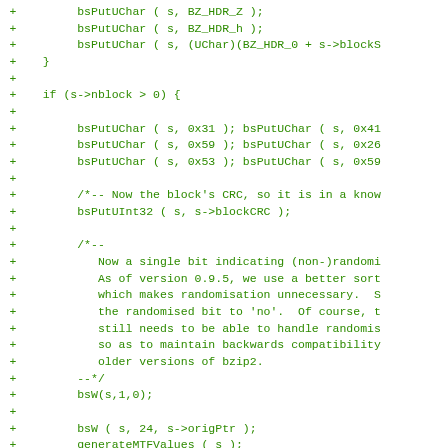[Figure (other): Source code diff showing added lines (marked with +) of C code for bzip2 compression, including bsPutUChar calls, block CRC writing, randomisation bit comment, and MTF value generation functions.]